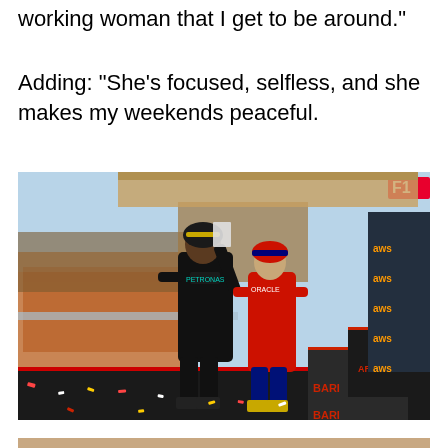working woman that I get to be around."
Adding: "She's focused, selfless, and she makes my weekends peaceful.
[Figure (photo): Formula 1 podium celebration scene showing two racing drivers in Mercedes and Red Bull suits holding trophies on the podium, with a large crowd visible in the background and AWS/Ferrari branding visible. The F1 logo is visible in the top right corner.]
[Figure (photo): Partial view of another image at the bottom of the page, cropped.]